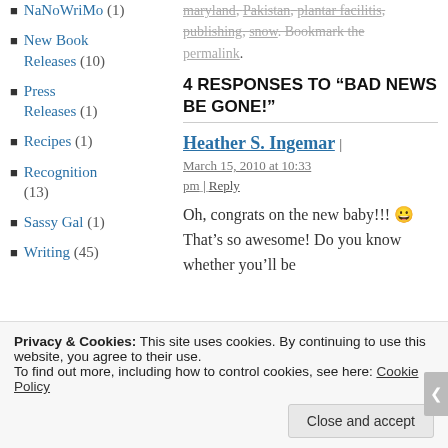NaNoWriMo (1)
New Book Releases (10)
Press Releases (1)
Recipes (1)
Recognition (13)
Sassy Gal (1)
Writing (45)
maryland, Pakistan, plantar facilitis, publishing, snow. Bookmark the permalink.
4 RESPONSES TO “BAD NEWS BE GONE!”
Heather S. Ingemar | March 15, 2010 at 10:33 pm | Reply
Oh, congrats on the new baby!!! 🙂 That’s so awesome! Do you know whether you’ll be
Privacy & Cookies: This site uses cookies. By continuing to use this website, you agree to their use. To find out more, including how to control cookies, see here: Cookie Policy